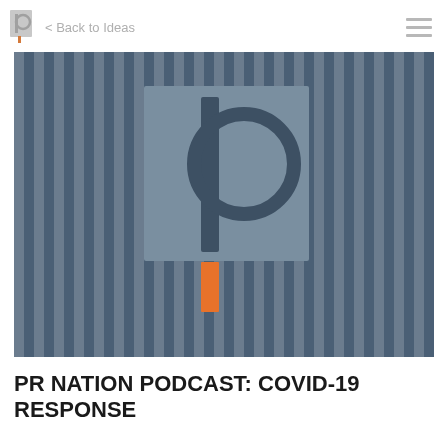< Back to Ideas
[Figure (logo): PR Nation Podcast logo: dark blue/slate background with vertical stripe pattern, centered gray square containing a stylized letter p with circle, orange vertical bar beneath the square]
PR NATION PODCAST: COVID-19 RESPONSE